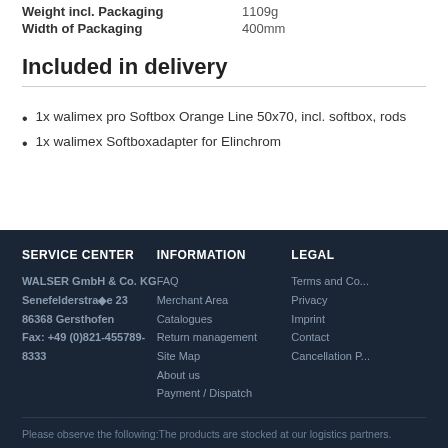| Weight incl. Packaging | 1109g |
| Width of Packaging | 400mm |
Included in delivery
1x walimex pro Softbox Orange Line 50x70, incl. softbox, rods
1x walimex Softboxadapter for Elinchrom
SERVICE CENTER | INFORMATION | LEGAL
WALSER GmbH & Co. KG
Senefelderstraße 23
86368 Gersthofen
Fax: +49 (0)821-455789-8333
FAQ
Merchant Area
Catalogues
Return management
Site Map
About us
Payment / Dispatch
Terms and Co...
Privacy
Imprint
Contact
Cancellation P...
Please observe the following:The products are stocked at our logistics partners.